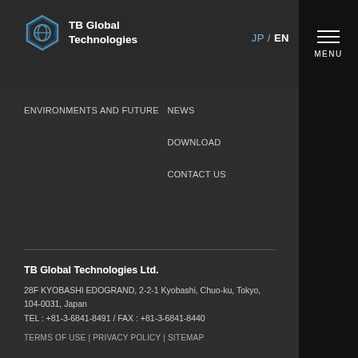[Figure (logo): TB Global Technologies logo with blue hexagonal/globe icon and white bold text]
JP / EN
MENU
ENVIRONMENTS AND FUTURE
NEWS
DOWNLOAD
CONTACT US
TB Global Technologies Ltd.
28F KYOBASHI EDOGRAND, 2-2-1 Kyobashi, Chuo-ku, Tokyo, 104-0031, Japan
TEL : +81-3-6841-8491 / FAX : +81-3-6841-8440
TERMS OF USE | PRIVACY POLICY | SITEMAP